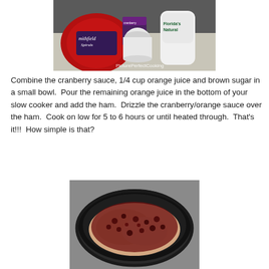[Figure (photo): Photo of ingredients: Smithfield Spirals ham package, canned cranberry sauce, and Florida's Natural orange juice bottle on a counter. Watermark reads 'PicturePerfectCooking'.]
Combine the cranberry sauce, 1/4 cup orange juice and brown sugar in a small bowl.  Pour the remaining orange juice in the bottom of your slow cooker and add the ham.  Drizzle the cranberry/orange sauce over the ham.  Cook on low for 5 to 6 hours or until heated through.  That's it!!!  How simple is that?
[Figure (photo): Photo of a ham covered with cranberry/orange sauce in a black slow cooker insert.]